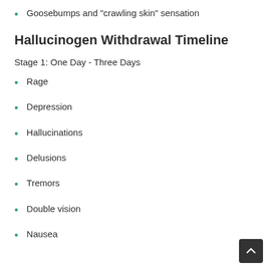Goosebumps and "crawling skin" sensation
Hallucinogen Withdrawal Timeline
Stage 1: One Day - Three Days
Rage
Depression
Hallucinations
Delusions
Tremors
Double vision
Nausea